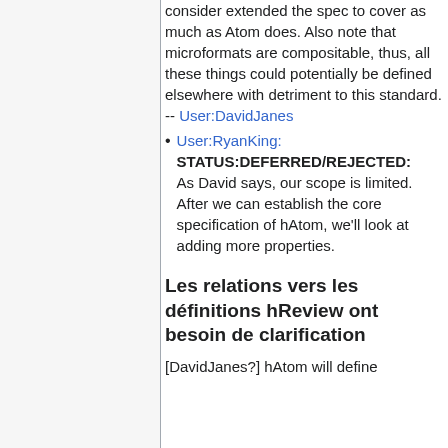elements are defined, we will consider extended the spec to cover as much as Atom does. Also note that microformats are compositable, thus, all these things could potentially be defined elsewhere with detriment to this standard. -- User:DavidJanes
User:RyanKing: STATUS:DEFERRED/REJECTED: As David says, our scope is limited. After we can establish the core specification of hAtom, we'll look at adding more properties.
Les relations vers les définitions hReview ont besoin de clarification
[DavidJanes?] hAtom will define